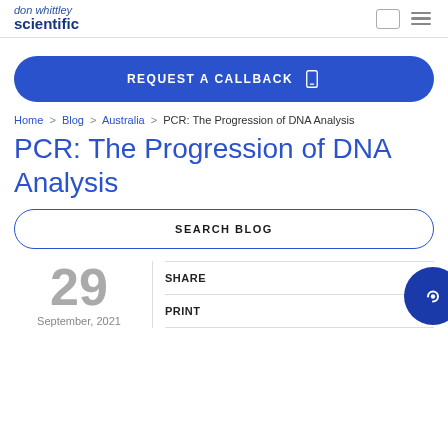don whittley scientific
REQUEST A CALLBACK
Home > Blog > Australia > PCR: The Progression of DNA Analysis
PCR: The Progression of DNA Analysis
SEARCH BLOG
29
September, 2021
SHARE
PRINT